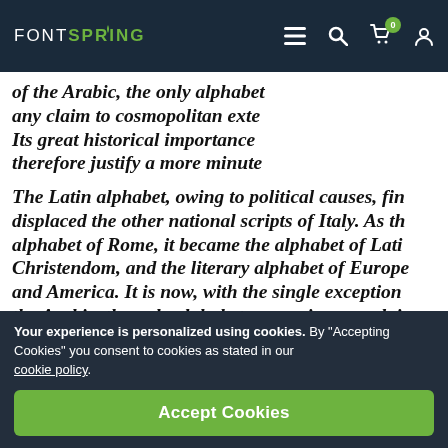FONTSPRING
of the Arabic, the only alphabet any claim to cosmopolitan exte Its great historical importance therefore justify a more minute
The Latin alphabet, owing to political causes, fin displaced the other national scripts of Italy. As th alphabet of Rome, it became the alphabet of Lati Christendom, and the literary alphabet of Europe and America. It is now, with the single exception the Arabic, the only alphabet possessing any clai to cosmopolitan extension. Its great historical im may therefore justify a more minute examinatio
Your experience is personalized using cookies. By “Accepting Cookies” you consent to cookies as stated in our cookie policy.
Accept Cookies